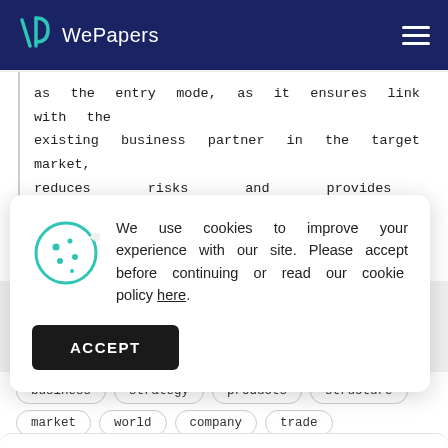WePapers
as the entry mode, as it ensures link with the existing business partner in the target market, reduces risks and provides competitive
We use cookies to improve your experience with our site. Please accept before continuing or read our cookie policy here.
ACCEPT
business   strategy   products   structure
market   world   company   trade